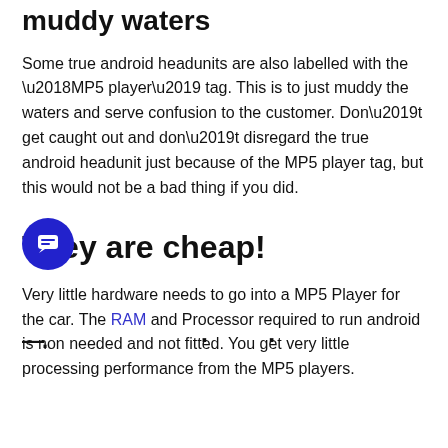muddy waters
Some true android headunits are also labelled with the ‘MP5 player’ tag. This is to just muddy the waters and serve confusion to the customer. Don’t get caught out and don’t disregard the true android headunit just because of the MP5 player tag, but this would not be a bad thing if you did.
They are cheap!
Very little hardware needs to go into a MP5 Player for the car. The RAM and Processor required to run android is non needed and not fitted. You get very little processing performance from the MP5 players.